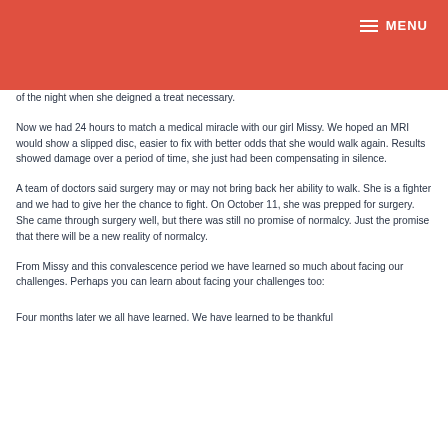MENU
of the night when she deigned a treat necessary.
Now we had 24 hours to match a medical miracle with our girl Missy. We hoped an MRI would show a slipped disc, easier to fix with better odds that she would walk again. Results showed damage over a period of time, she just had been compensating in silence.
A team of doctors said surgery may or may not bring back her ability to walk. She is a fighter and we had to give her the chance to fight. On October 11, she was prepped for surgery.  She came through surgery well, but there was still no promise of normalcy. Just the promise that there will be a new reality of normalcy.
From Missy and this convalescence period we have learned so much about facing our challenges. Perhaps you can learn about facing your challenges too:
Four months later we all have learned. We have learned to be thankful